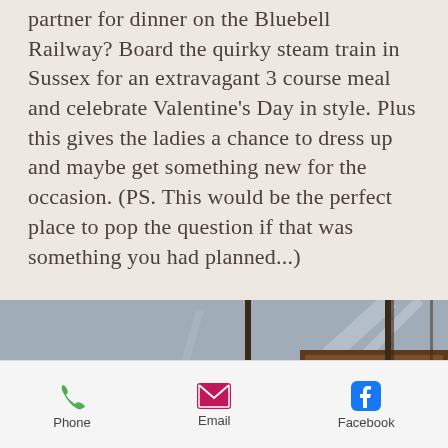partner for dinner on the Bluebell Railway? Board the quirky steam train in Sussex for an extravagant 3 course meal and celebrate Valentine's Day in style. Plus this gives the ladies a chance to dress up and maybe get something new for the occasion. (PS. This would be the perfect place to pop the question if that was something you had planned...)
[Figure (photo): Interior of a vintage steam train carriage showing ornate wooden paneling and warm glowing light fixtures on the ceiling]
Phone   Email   Facebook